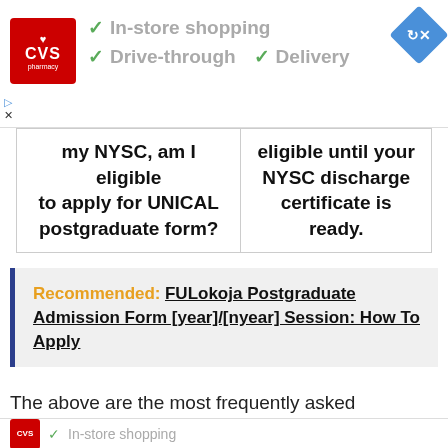[Figure (other): CVS Pharmacy advertisement banner showing checkmarks for In-store shopping, Drive-through, and Delivery services with navigation close button]
| my NYSC, am I eligible to apply for UNICAL postgraduate form? | eligible until your NYSC discharge certificate is ready. |
Recommended: FULokoja Postgraduate Admission Form [year]/[nyear] Session: How To Apply
The above are the most frequently asked
[Figure (other): CVS Pharmacy advertisement banner (bottom) showing checkmarks for In-store shopping, Drive-through, and Delivery services]